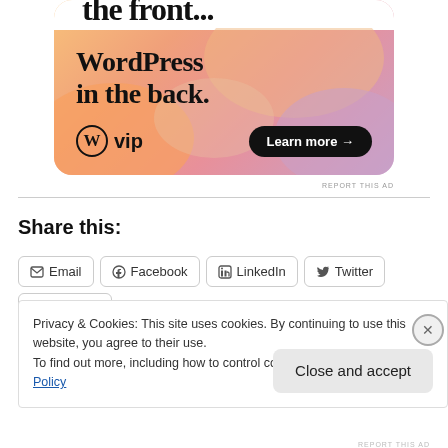[Figure (illustration): WordPress VIP advertisement banner with orange/pink gradient background. Shows text 'the front...' at top (cut off), 'WordPress in the back.' in large serif font, WordPress logo with 'vip' text, and a 'Learn more →' button in dark rounded pill shape.]
REPORT THIS AD
Share this:
Email
Facebook
LinkedIn
Twitter
Pinterest
Privacy & Cookies: This site uses cookies. By continuing to use this website, you agree to their use.
To find out more, including how to control cookies, see here: Cookie Policy
Close and accept
REPORT THIS AD